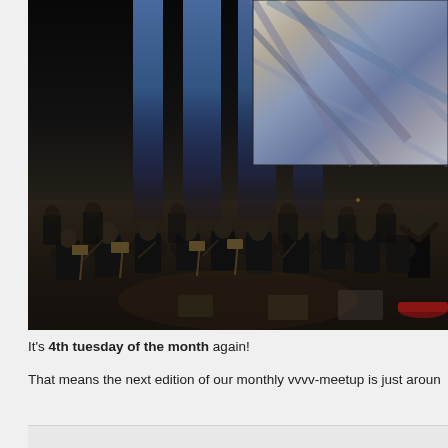[Figure (photo): Orchestra performing on a dark stage with blue light columns in the background and a large artwork/projection visible in the top-right corner. Musicians dressed in black are seated with instruments; a conductor stands at the right.]
It's 4th tuesday of the month again!
That means the next edition of our monthly vvvv-meetup is just aroun